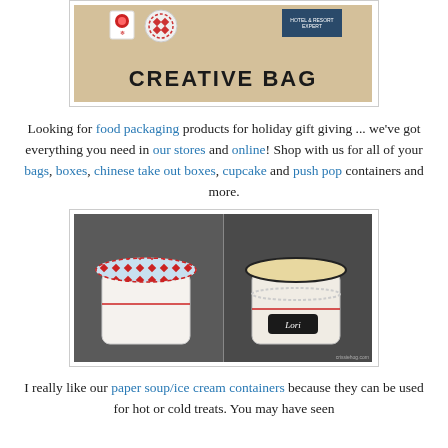[Figure (photo): Photo showing Creative Bag branding — a tan/burlap-colored background with decorative items and 'CREATIVE BAG' text in bold black letters]
Looking for food packaging products for holiday gift giving ... we've got everything you need in our stores and online! Shop with us for all of your bags, boxes, chinese take out boxes, cupcake and push pop containers and more.
[Figure (photo): Two decorated paper soup/ice cream containers side by side. Left container is white with a red and blue patterned lid and twine. Right container has a chalkboard label reading 'Lori' with lace trim and a decorated lid.]
I really like our paper soup/ice cream containers because they can be used for hot or cold treats. You may have seen